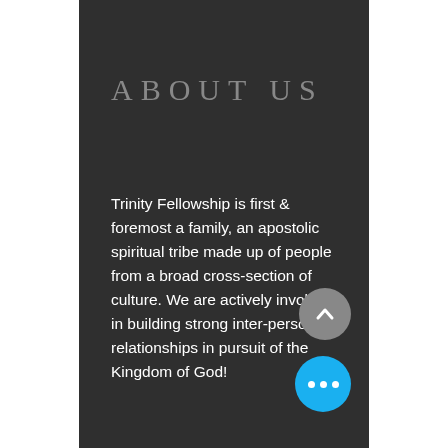ABOUT US
Trinity Fellowship is first & foremost a family, an apostolic spiritual tribe made up of people from a broad cross-section of culture. We are actively involved in building strong inter-personal relationships in pursuit of the Kingdom of God!
[Figure (other): Gray circular button with upward chevron arrow icon]
[Figure (other): Blue circular button with three white dots (more options)]